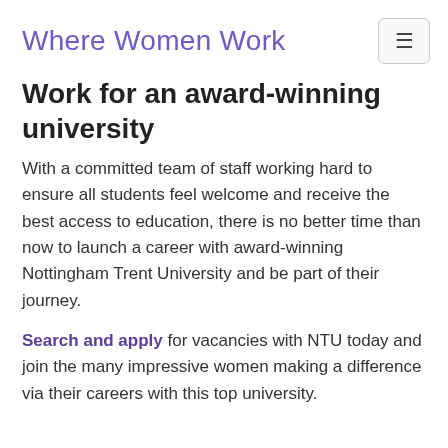Where Women Work
Work for an award-winning university
With a committed team of staff working hard to ensure all students feel welcome and receive the best access to education, there is no better time than now to launch a career with award-winning Nottingham Trent University and be part of their journey.
Search and apply for vacancies with NTU today and join the many impressive women making a difference via their careers with this top university.
Find out more